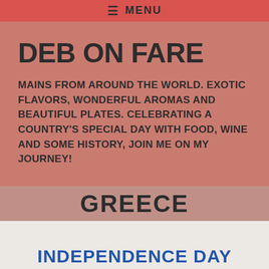≡ MENU
DEB ON FARE
MAINS FROM AROUND THE WORLD. EXOTIC FLAVORS, WONDERFUL AROMAS AND BEAUTIFUL PLATES. CELEBRATING A COUNTRY'S SPECIAL DAY WITH FOOD, WINE AND SOME HISTORY, JOIN ME ON MY JOURNEY!
GREECE
INDEPENDENCE DAY